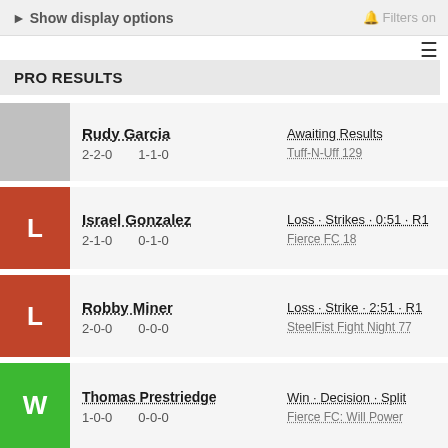Show display options | Filters on
PRO RESULTS
Rudy Garcia | 2-2-0 | 1-1-0 | Awaiting Results | Tuff-N-Uff 129
L | Israel Gonzalez | 2-1-0 | 0-1-0 | Loss · Strikes · 0:51 · R1 | Fierce FC 18
L | Robby Miner | 2-0-0 | 0-0-0 | Loss · Strike · 2:51 · R1 | SteelFist Fight Night 77
W | Thomas Prestriedge | 1-0-0 | 0-0-0 | Win · Decision · Split | Fierce FC: Will Power
W | Jodoniss Edwards | 0-0-0 | 0-0-0 | Win · Disqualificaton · 1:27 | HFC 41